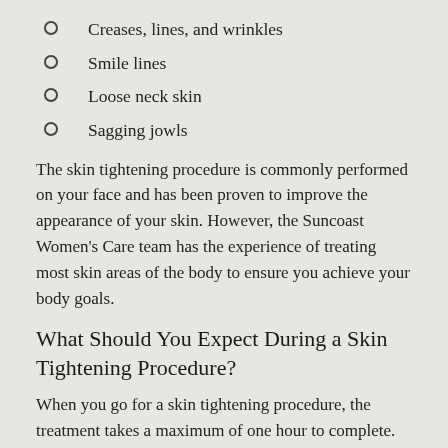Creases, lines, and wrinkles
Smile lines
Loose neck skin
Sagging jowls
The skin tightening procedure is commonly performed on your face and has been proven to improve the appearance of your skin. However, the Suncoast Women's Care team has the experience of treating most skin areas of the body to ensure you achieve your body goals.
What Should You Expect During a Skin Tightening Procedure?
When you go for a skin tightening procedure, the treatment takes a maximum of one hour to complete. You may also expect the therapy to be administered...